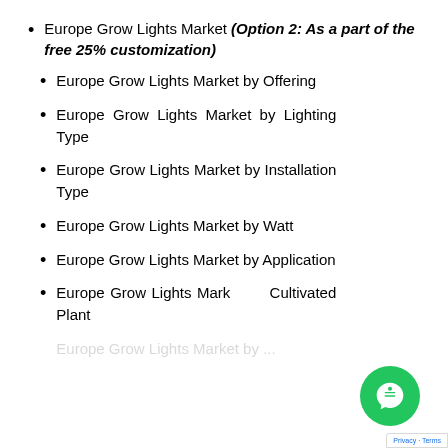Europe Grow Lights Market (Option 2: As a part of the free 25% customization)
Europe Grow Lights Market by Offering
Europe Grow Lights Market by Lighting Type
Europe Grow Lights Market by Installation Type
Europe Grow Lights Market by Watt
Europe Grow Lights Market by Application
Europe Grow Lights Market by Cultivated Plant
Europe Grow Lights Market by ...